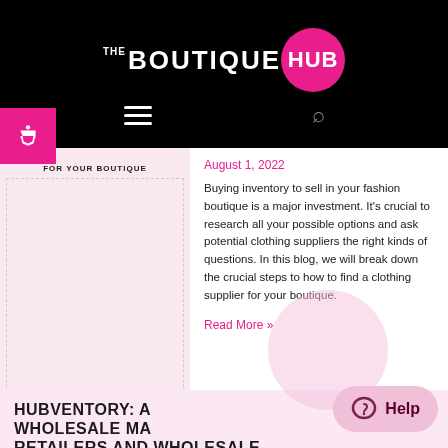THE BOUTIQUE HUB
August 1, 2022
Buying inventory to sell in your fashion boutique is a major investment. It's crucial to research all your possible options and ask potential clothing suppliers the right kinds of questions. In this blog, we will break down the crucial steps to how to find a clothing supplier for your boutique.
Read More »
HUBVENTORY: A WHOLESALE MARKETPLACE FOR RETAILERS AND WHOLESALE